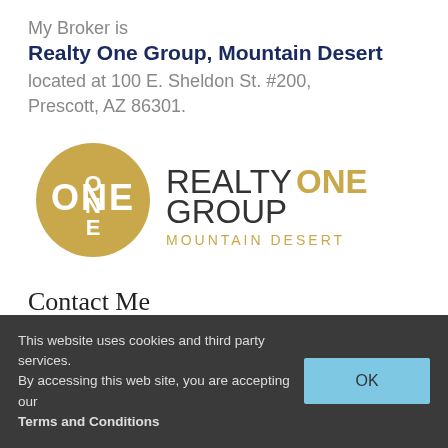My Broker is
Realty One Group, Mountain Desert
located at 100 E. Sheldon St. #200, Prescott, AZ 86301.
[Figure (logo): Realty One Group Mountain Desert logo with gold circle containing ONE text and company name beside it]
Contact Me
Name *
This website uses cookies and third party services.
By accessing this web site, you are accepting our Terms and Conditions